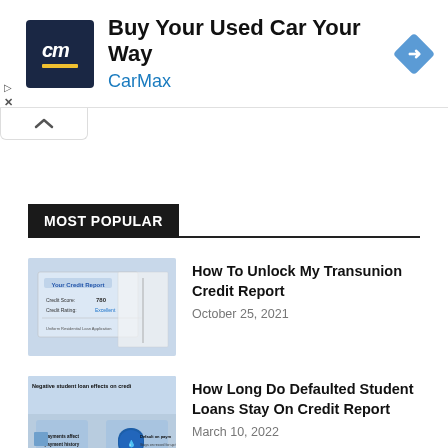[Figure (infographic): CarMax advertisement banner with logo (cm letters in dark blue box with yellow underline), text 'Buy Your Used Car Your Way', 'CarMax' in blue, and a blue diamond navigation arrow icon on the right]
[Figure (other): Collapse/minimize tab with an up chevron arrow]
MOST POPULAR
[Figure (photo): Credit report thumbnail showing 'Your Credit Report', Credit Score: 780, Credit Rating: Excellent, with a pen and Uniform Residential Loan Application form]
How To Unlock My Transunion Credit Report
October 25, 2021
[Figure (infographic): Thumbnail showing negative student loan effects on credit report, with icons for payment history and default on payments]
How Long Do Defaulted Student Loans Stay On Credit Report
March 10, 2022